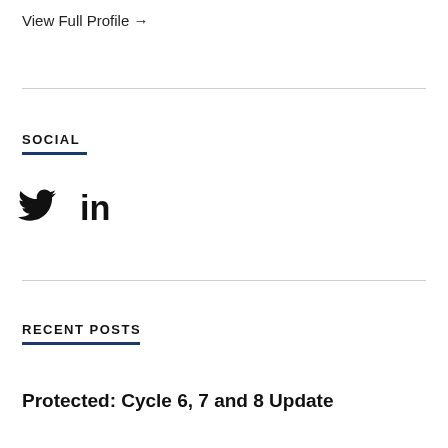View Full Profile →
SOCIAL
[Figure (other): Twitter bird icon and LinkedIn 'in' icon rendered as social media icons]
RECENT POSTS
Protected: Cycle 6, 7 and 8 Update